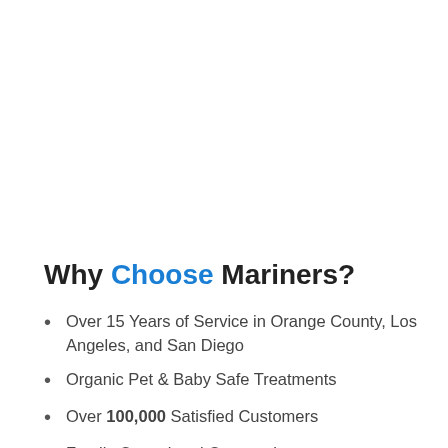Why Choose Mariners?
Over 15 Years of Service in Orange County, Los Angeles, and San Diego
Organic Pet & Baby Safe Treatments
Over 100,000 Satisfied Customers
Family Owned and Operated
Termite Free Guarantee!
Quick Inspections: About 30 minutes